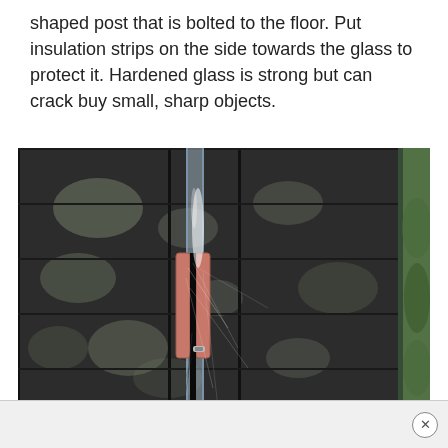shaped post that is bolted to the floor. Put insulation strips on the side towards the glass to protect it. Hardened glass is strong but can crack buy small, sharp objects.
[Figure (photo): Close-up photo of a glass panel secured by a metal/wooden bracket with reddish insulation foam strips on either side, showing cobwebs. Dark wooden fence panels visible in background with dappled light.]